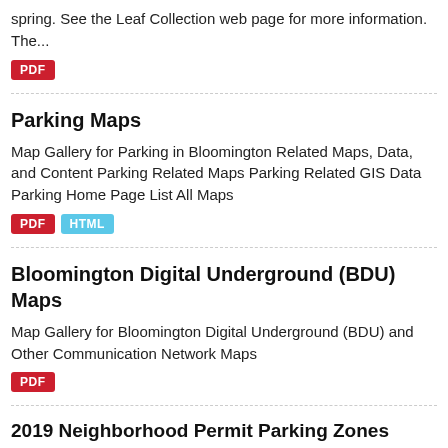spring. See the Leaf Collection web page for more information. The...
PDF
Parking Maps
Map Gallery for Parking in Bloomington Related Maps, Data, and Content Parking Related Maps Parking Related GIS Data Parking Home Page List All Maps
PDF  HTML
Bloomington Digital Underground (BDU) Maps
Map Gallery for Bloomington Digital Underground (BDU) and Other Communication Network Maps
PDF
2019 Neighborhood Permit Parking Zones Changes GIS Data